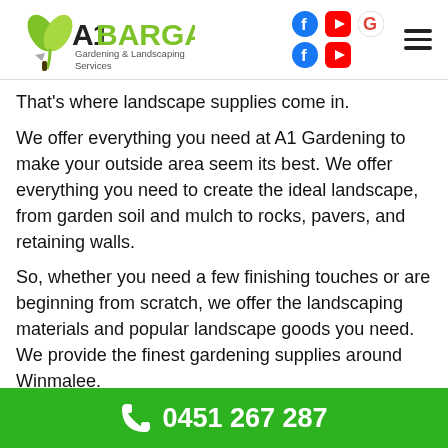A1 Bargain Gardening & Landscaping Services
That's where landscape supplies come in.
We offer everything you need at A1 Gardening to make your outside area seem its best. We offer everything you need to create the ideal landscape, from garden soil and mulch to rocks, pavers, and retaining walls.
So, whether you need a few finishing touches or are beginning from scratch, we offer the landscaping materials and popular landscape goods you need. We provide the finest gardening supplies around Winmalee.
Visit us now and let us assist you in creating the ideal
0451 267 287